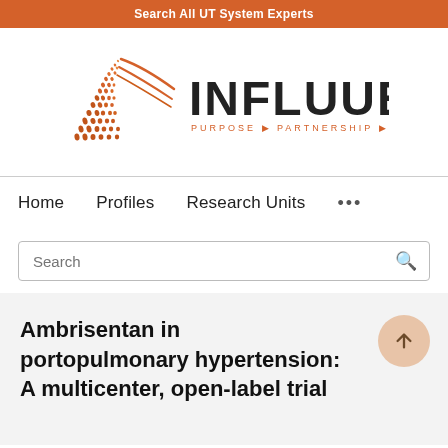Search All UT System Experts
[Figure (logo): Influuent logo with orange geometric arrow/triangle design and tagline PURPOSE PARTNERSHIP PROGRESS]
Home   Profiles   Research Units   ...
Search
Ambrisentan in portopulmonary hypertension: A multicenter, open-label trial